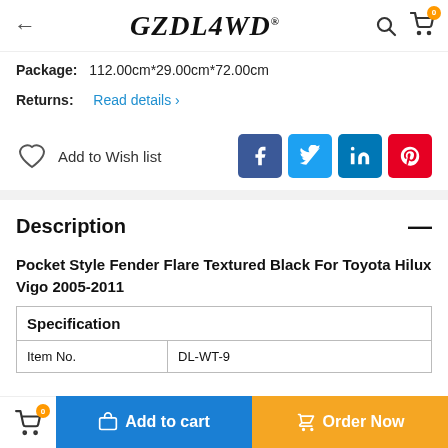← GZDL4WD (logo) 🔍 🛒
Package: 112.00cm*29.00cm*72.00cm
Returns: Read details >
♡ Add to Wish list
Section: Description
Pocket Style Fender Flare Textured Black For Toyota Hilux Vigo 2005-2011
| Specification |  |
| --- | --- |
| Item No. | DL-WT-9 |